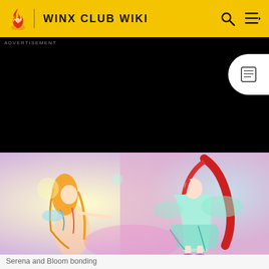WINX CLUB WIKI
[Figure (illustration): Advertisement black area with a white circle icon on the right side]
[Figure (illustration): Animated image of Serena and Bloom bonding — two fairy characters with colorful hair and wings against a glowing background]
Serena and Bloom bonding
She also appears in the next episode, when the Winx go to fully obtain Sirenix and cross the Sirenix Gate. She is seen with the other Selkies, Winx, and the Guardians of Sirenix